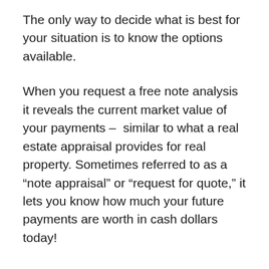The only way to decide what is best for your situation is to know the options available.
When you request a free note analysis it reveals the current market value of your payments – similar to what a real estate appraisal provides for real property. Sometimes referred to as a “note appraisal” or “request for quote,” it lets you know how much your future payments are worth in cash dollars today!